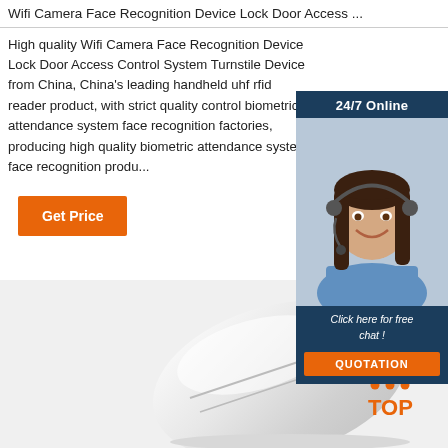Wifi Camera Face Recognition Device Lock Door Access ...
High quality Wifi Camera Face Recognition Device Lock Door Access Control System Turnstile Device from China, China's leading handheld uhf rfid reader product, with strict quality control biometric attendance system face recognition factories, producing high quality biometric attendance system face recognition products.
[Figure (other): Customer service chat widget with 24/7 Online header, photo of smiling woman with headset, 'Click here for free chat!' text, and orange QUOTATION button]
[Figure (photo): Product photo showing a white curved device (likely a face recognition terminal) on a white background, with a red TOP logo in the bottom right corner]